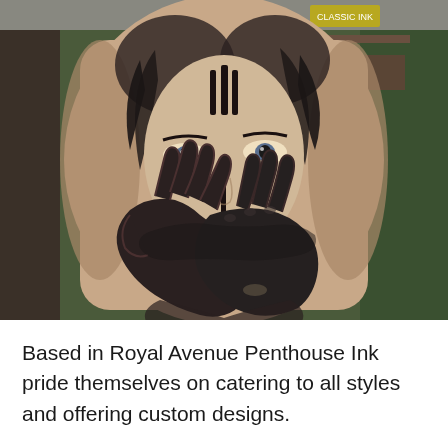[Figure (photo): A black and white tattoo on a man's back depicting a woman's face with dramatic face paint or markings, with hands covering the lower portion of her face. The background shows a shop environment with plants and shelving.]
Based in Royal Avenue Penthouse Ink pride themselves on catering to all styles and offering custom designs.